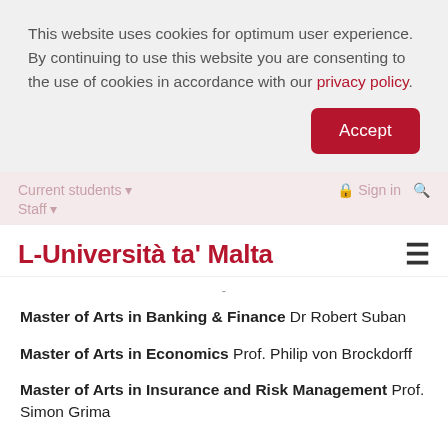This website uses cookies for optimum user experience. By continuing to use this website you are consenting to the use of cookies in accordance with our privacy policy.
Accept
Current students ▾   Sign in   🔍   Staff ▾
L-Università ta' Malta
-
Master of Arts in Banking & Finance Dr Robert Suban
Master of Arts in Economics Prof. Philip von Brockdorff
Master of Arts in Insurance and Risk Management Prof. Simon Grima